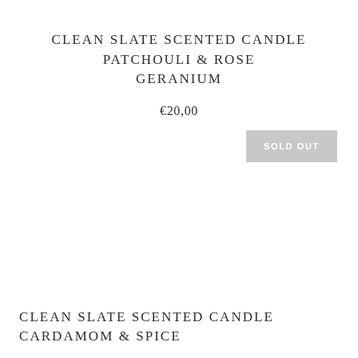CLEAN SLATE SCENTED CANDLE PATCHOULI & ROSE GERANIUM
€20,00
SOLD OUT
CLEAN SLATE SCENTED CANDLE CARDAMOM & SPICE